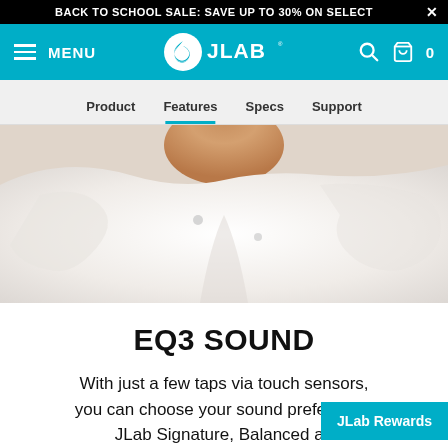BACK TO SCHOOL SALE: SAVE UP TO 30% ON SELECT
[Figure (screenshot): JLab navigation header with teal background, hamburger menu, JLab logo, search and cart icons]
[Figure (photo): Close-up photo of a person wearing a white hoodie, cropped to show the neck/chest area]
EQ3 SOUND
With just a few taps via touch sensors, you can choose your sound preference: JLab Signature, Balanced an